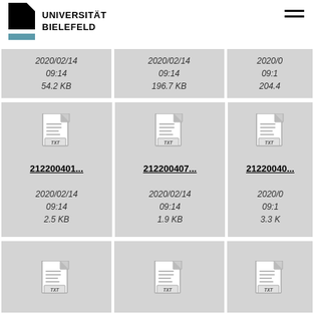[Figure (logo): Universität Bielefeld logo with black geometric shape and teal bar]
UNIVERSITÄT
BIELEFELD
[Figure (screenshot): File browser grid showing TXT files with dates and sizes. Row 1 cells show 2020/02/14 09:14 54.2 KB, 2020/02/14 09:14 196.7 KB, 2020/0... 09:1... 204.4.... Row 2 cells show file icons with names 212200401..., 212200407..., 21220040... and dates 2020/02/14 09:14 2.5 KB, 2020/02/14 09:14 1.9 KB, 2020/0... 09:1... 3.3 K.... Row 3 shows partial file icons.]